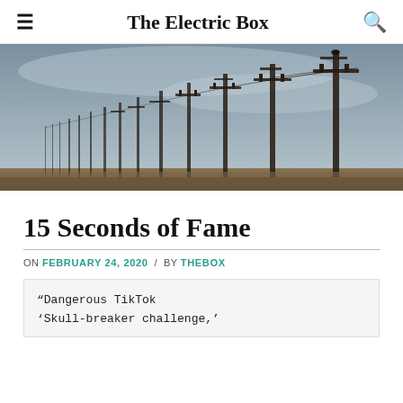The Electric Box
[Figure (photo): A row of electrical utility poles with cross-arms and wires receding into the distance under an overcast grey sky, with flat scrubland in the foreground.]
15 Seconds of Fame
ON FEBRUARY 24, 2020 / BY THEBOX
“Dangerous TikTok ‘Skull-breaker challenge,’